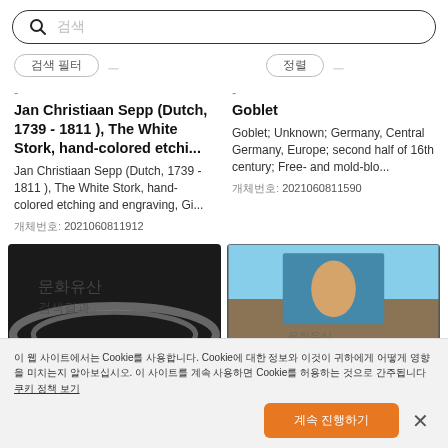검색 (search bar placeholder)
- (orange dash)
Jan Christiaan Sepp (Dutch, 1739 - 1811 ), The White Stork, hand-colored etchi...
Jan Christiaan Sepp (Dutch, 1739 - 1811 ), The White Stork, hand-colored etching and engraving, Gi...
개체 번호: 2021060811912
- (orange dash)
Goblet
Goblet; Unknown; Germany, Central Germany, Europe; second half of 16th century; Free- and mold-blo...
개체 번호: 2021060811590
[Figure (photo): Dark image showing what appears to be a planet with rings (Saturn)]
[Figure (photo): Painting showing a landscape with a figure and blue sky]
이 웹 사이트에서는 Cookie를 사용합니다. Cookie에 대한 정보와 이것이 귀하에게 어떻게 영향을 미치는지 알아보십시오. 이 사이트를 계속 사용하면 Cookie를 허용하는 것으로 간주됩니다 쿠키 정책 보기
계속 진행하기